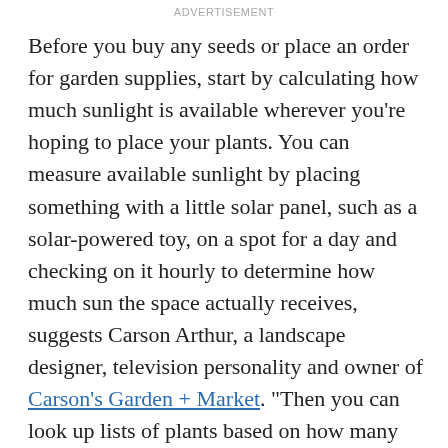ADVERTISEMENT
Before you buy any seeds or place an order for garden supplies, start by calculating how much sunlight is available wherever you're hoping to place your plants. You can measure available sunlight by placing something with a little solar panel, such as a solar-powered toy, on a spot for a day and checking on it hourly to determine how much sun the space actually receives, suggests Carson Arthur, a landscape designer, television personality and owner of Carson's Garden + Market. "Then you can look up lists of plants based on how many hours of sunlight you have," says Arthur. "A good general rule of thumb is to go with leafier plants — things like kale, spinach, lettuce — in shadier spots because they [don't need as much] sunlight to grow and produce."